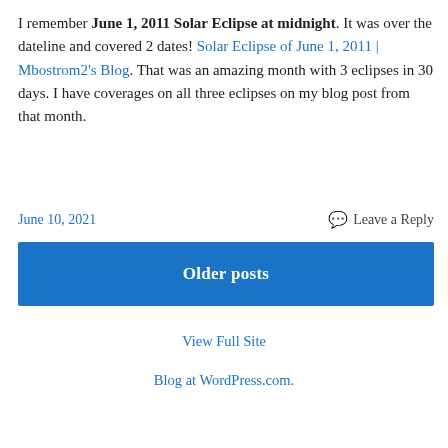I remember June 1, 2011 Solar Eclipse at midnight. It was over the dateline and covered 2 dates! Solar Eclipse of June 1, 2011 | Mbostrom2's Blog. That was an amazing month with 3 eclipses in 30 days. I have coverages on all three eclipses on my blog post from that month.
June 10, 2021
Leave a Reply
Older posts
View Full Site
Blog at WordPress.com.